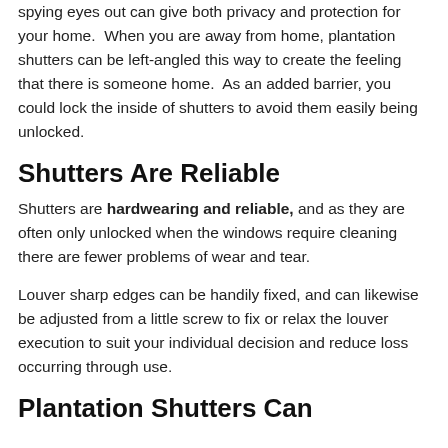spying eyes out can give both privacy and protection for your home.  When you are away from home, plantation shutters can be left-angled this way to create the feeling that there is someone home.  As an added barrier, you could lock the inside of shutters to avoid them easily being unlocked.
Shutters Are Reliable
Shutters are hardwearing and reliable, and as they are often only unlocked when the windows require cleaning there are fewer problems of wear and tear.
Louver sharp edges can be handily fixed, and can likewise be adjusted from a little screw to fix or relax the louver execution to suit your individual decision and reduce loss occurring through use.
Plantation Shutters Can